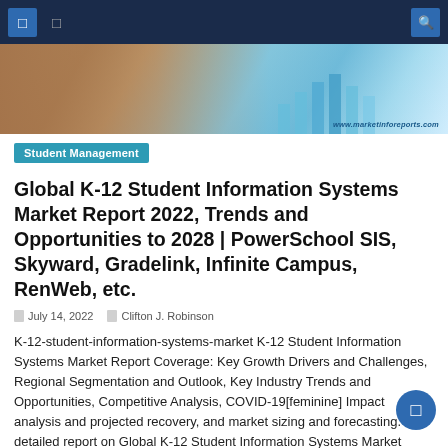Navigation bar with icons
[Figure (photo): Hero banner image showing hands pointing at charts/graphs on a tablet, with watermark www.marketinforeports.com]
Student Management
Global K-12 Student Information Systems Market Report 2022, Trends and Opportunities to 2028 | PowerSchool SIS, Skyward, Gradelink, Infinite Campus, RenWeb, etc.
July 14, 2022   Clifton J. Robinson
K-12-student-information-systems-market K-12 Student Information Systems Market Report Coverage: Key Growth Drivers and Challenges, Regional Segmentation and Outlook, Key Industry Trends and Opportunities, Competitive Analysis, COVID-19[feminine] Impact analysis and projected recovery, and market sizing and forecasting. A detailed report on Global K-12 Student Information Systems Market providing